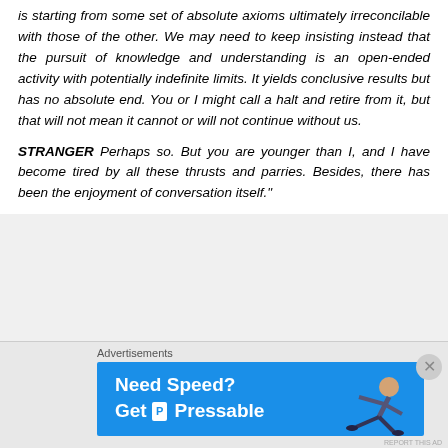is starting from some set of absolute axioms ultimately irreconcilable with those of the other. We may need to keep insisting instead that the pursuit of knowledge and understanding is an open-ended activity with potentially indefinite limits. It yields conclusive results but has no absolute end. You or I might call a halt and retire from it, but that will not mean it cannot or will not continue without us.
STRANGER Perhaps so. But you are younger than I, and I have become tired by all these thrusts and parries. Besides, there has been the enjoyment of conversation itself."
Advertisements
[Figure (infographic): Advertisement banner for Pressable web hosting service with blue background, showing 'Need Speed? Get Pressable' text with logo and a person flying/leaping figure on the right side.]